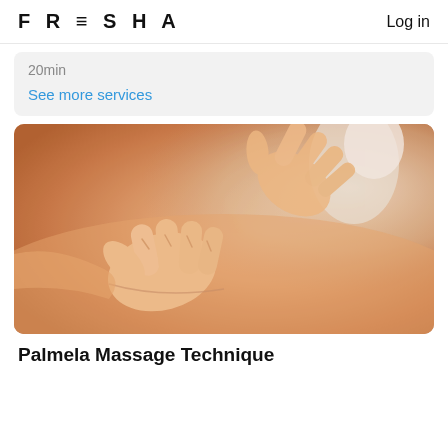FRESHA  Log in
20min
See more services
[Figure (photo): Close-up photo of a massage therapist's hands pressing on a person's back during a massage session. Warm skin tones, blurred background with a white bottle visible.]
Palmela Massage Technique